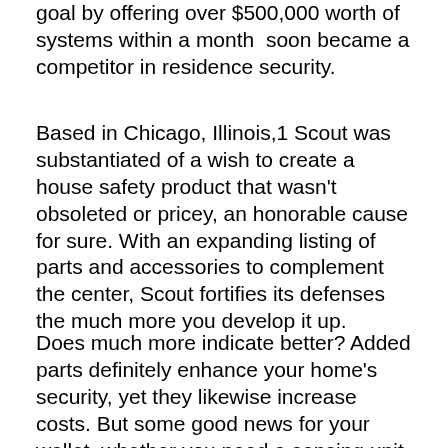goal by offering over $500,000 worth of systems within a month  soon became a competitor in residence security.
Based in Chicago, Illinois,1 Scout was substantiated of a wish to create a house safety product that wasn't obsoleted or pricey, an honorable cause for sure. With an expanding listing of parts and accessories to complement the center, Scout fortifies its defenses the much more you develop it up.
Does much more indicate better? Added parts definitely enhance your home's security, yet they likewise increase costs. But some good news for your wallet, whether you need a sensing unit on every windows and door or you just need the fundamental